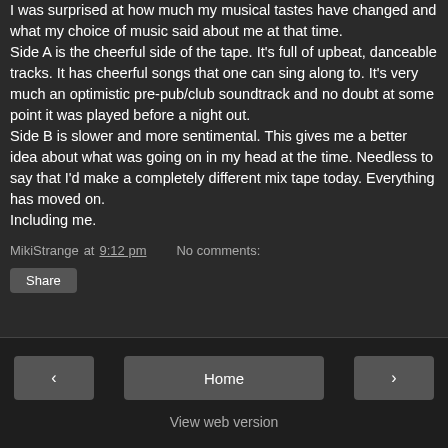I was surprised at how much my musical tastes have changed and what my choice of music said about me at that time. Side A is the cheerful side of the tape. It's full of upbeat, danceable tracks. It has cheerful songs that one can sing along to. It's very much an optimistic pre-pub/club soundtrack and no doubt at some point it was played before a night out. Side B is slower and more sentimental. This gives me a better idea about what was going on in my head at the time. Needless to say that I'd make a completely different mix tape today. Everything has moved on. Including me.
MikiStrange at 9:12 pm   No comments:
Share
< Home > View web version